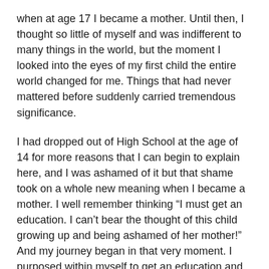when at age 17 I became a mother. Until then, I thought so little of myself and was indifferent to many things in the world, but the moment I looked into the eyes of my first child the entire world changed for me. Things that had never mattered before suddenly carried tremendous significance.
I had dropped out of High School at the age of 14 for more reasons that I can begin to explain here, and I was ashamed of it but that shame took on a whole new meaning when I became a mother. I well remember thinking “I must get an education. I can’t bear the thought of this child growing up and being ashamed of her mother!” And my journey began in that very moment. I purposed within myself to get an education and to make my daughter proud, and with God’s help I did.